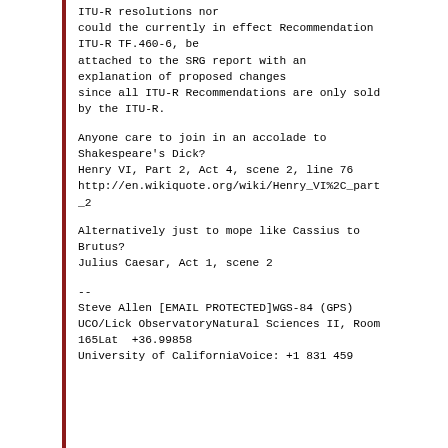ITU-R resolutions nor
could the currently in effect Recommendation
ITU-R TF.460-6, be
attached to the SRG report with an
explanation of proposed changes
since all ITU-R Recommendations are only sold
by the ITU-R.
Anyone care to join in an accolade to
Shakespeare's Dick?
Henry VI, Part 2, Act 4, scene 2, line 76
http://en.wikiquote.org/wiki/Henry_VI%2C_part
_2
Alternatively just to mope like Cassius to
Brutus?
Julius Caesar, Act 1, scene 2
--
Steve Allen [EMAIL PROTECTED]WGS-84 (GPS)
UCO/Lick ObservatoryNatural Sciences II, Room
165Lat  +36.99858
University of CaliforniaVoice: +1 831 459